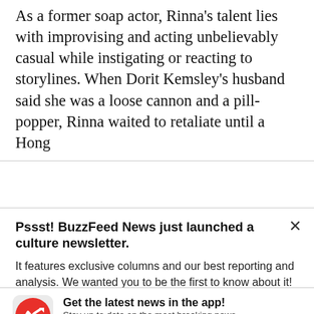As a former soap actor, Rinna's talent lies with improvising and acting unbelievably casual while instigating or reacting to storylines. When Dorit Kemsley's husband said she was a loose cannon and a pill-popper, Rinna waited to retaliate until a Hong
Pssst! BuzzFeed News just launched a culture newsletter.
It features exclusive columns and our best reporting and analysis. We wanted you to be the first to know about it!
[Figure (logo): BuzzFeed app icon: red circle with white trending arrow]
Get the latest news in the app! Stay up to date on the most breaking news, all from your BuzzFeed app.
Maybe later
Get the app